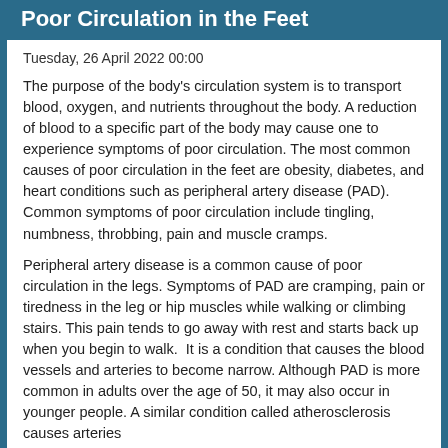Poor Circulation in the Feet
Tuesday, 26 April 2022 00:00
The purpose of the body's circulation system is to transport blood, oxygen, and nutrients throughout the body. A reduction of blood to a specific part of the body may cause one to experience symptoms of poor circulation. The most common causes of poor circulation in the feet are obesity, diabetes, and heart conditions such as peripheral artery disease (PAD). Common symptoms of poor circulation include tingling, numbness, throbbing, pain and muscle cramps.
Peripheral artery disease is a common cause of poor circulation in the legs. Symptoms of PAD are cramping, pain or tiredness in the leg or hip muscles while walking or climbing stairs. This pain tends to go away with rest and starts back up when you begin to walk.  It is a condition that causes the blood vessels and arteries to become narrow. Although PAD is more common in adults over the age of 50, it may also occur in younger people. A similar condition called atherosclerosis causes arteries